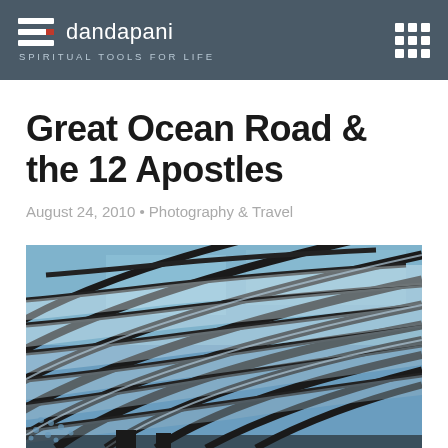dandapani — SPIRITUAL TOOLS FOR LIFE
Great Ocean Road & the 12 Apostles
August 24, 2010 • Photography & Travel
[Figure (photo): Architectural photo of a curved lattice/grid glass ceiling structure with blue sky visible through the panes, shot from below at an angle.]